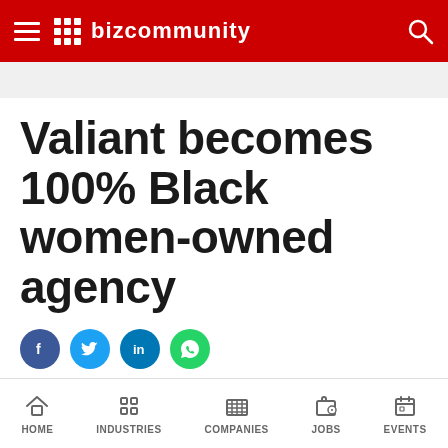Bizcommunity
Valiant becomes 100% Black women-owned agency
[Figure (other): Social share buttons: Facebook, Twitter, LinkedIn, WhatsApp]
19 APR 2022   SAVE | EMAIL | PRINT | PDF
ISSUED BY: VALIANT
HOME   INDUSTRIES   COMPANIES   JOBS   EVENTS